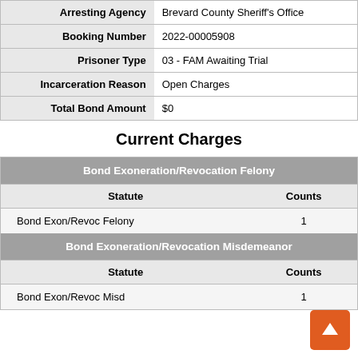| Field | Value |
| --- | --- |
| Arresting Agency | Brevard County Sheriff's Office |
| Booking Number | 2022-00005908 |
| Prisoner Type | 03 - FAM Awaiting Trial |
| Incarceration Reason | Open Charges |
| Total Bond Amount | $0 |
Current Charges
| Bond Exoneration/Revocation Felony |
| --- |
| Statute | Counts |
| Bond Exon/Revoc Felony | 1 |
| Bond Exoneration/Revocation Misdemeanor |
| --- |
| Statute | Counts |
| Bond Exon/Revoc Misd | 1 |